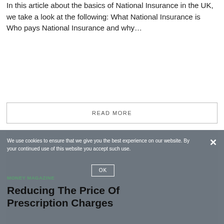In this article about the basics of National Insurance in the UK, we take a look at the following: What National Insurance is Who pays National Insurance and why…
READ MORE
[Figure (other): Grey placeholder box for an advertisement or image]
We use cookies to ensure that we give you the best experience on our website. By your continued use of this website you accept such use.
MONEY MAGAZINE
Reducing The Price Of Prescription Charges